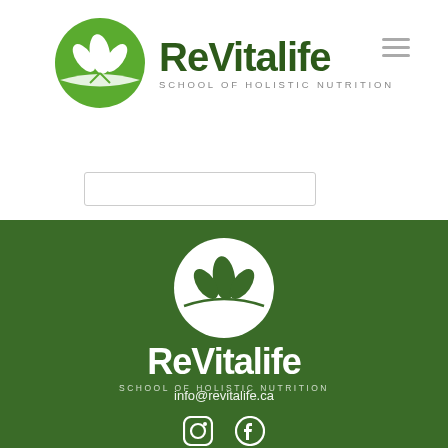[Figure (logo): ReVitalife School of Holistic Nutrition logo in header - green circle with white leaf/plant icon]
ReVitalife SCHOOL OF HOLISTIC NUTRITION
[Figure (logo): ReVitalife School of Holistic Nutrition logo in footer - white circle with green background containing white leaf/plant icon]
info@revitalife.ca
[Figure (other): Instagram and Facebook social media icons in white]